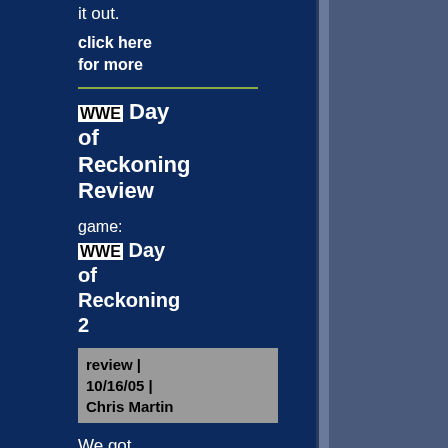it out.
click here for more
WWE Day of Reckoning Review
game: WWE Day of Reckoning 2
review | 10/16/05 | Chris Martin
We got Chris Martin\'s skinny butt in the ring with WWE Day of